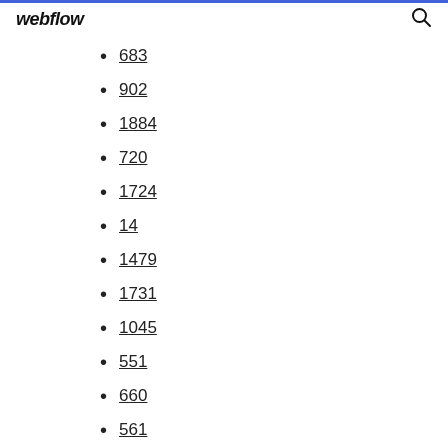webflow
683
902
1884
720
1724
14
1479
1731
1045
551
660
561